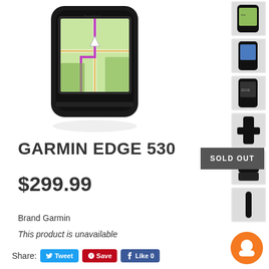[Figure (photo): Main product image of Garmin Edge 530 GPS cycling computer showing navigation map on screen]
[Figure (photo): Thumbnail 1: Garmin Edge 530 with map view]
[Figure (photo): Thumbnail 2: Garmin Edge 530 front view with screen]
[Figure (photo): Thumbnail 3: Garmin Edge 530 side view]
[Figure (photo): Thumbnail 4: Garmin Edge 530 with accessory]
[Figure (photo): Thumbnail 5: Garmin Edge 530 docked]
[Figure (photo): Thumbnail 6: Small accessory/sensor]
GARMIN EDGE 530
$299.99
Brand Garmin
This product is unavailable
Share: Tweet Save Like 0